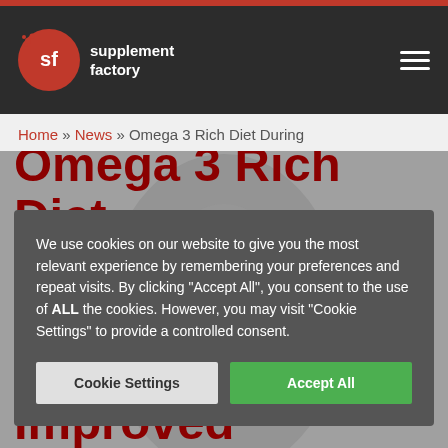supplement factory — navigation header with logo and hamburger menu
Home » News » Omega 3 Rich Diet During
We use cookies on our website to give you the most relevant experience by remembering your preferences and repeat visits. By clicking "Accept All", you consent to the use of ALL the cookies. However, you may visit "Cookie Settings" to provide a controlled consent.
Omega 3 Rich Diet During Pregnancy Linked To Improved